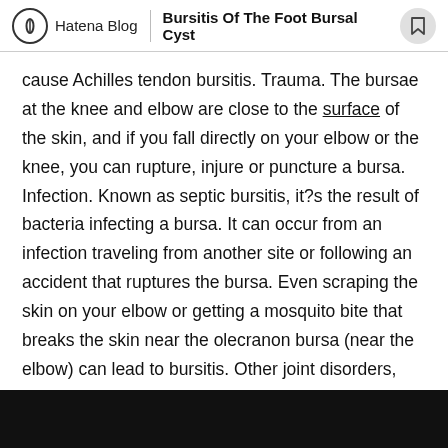Hatena Blog | Bursitis Of The Foot Bursal Cyst
cause Achilles tendon bursitis. Trauma. The bursae at the knee and elbow are close to the surface of the skin, and if you fall directly on your elbow or the knee, you can rupture, injure or puncture a bursa. Infection. Known as septic bursitis, it?s the result of bacteria infecting a bursa. It can occur from an infection traveling from another site or following an accident that ruptures the bursa. Even scraping the skin on your elbow or getting a mosquito bite that breaks the skin near the olecranon bursa (near the elbow) can lead to bursitis. Other joint disorders, such as rheumatoid arthritis, osteoarthritis and gout, or health conditions.